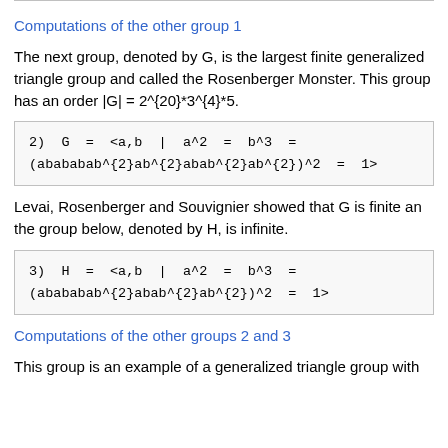Computations of the other group 1
The next group, denoted by G, is the largest finite generalized triangle group and called the Rosenberger Monster. This group has an order |G| = 2^{20}*3^{4}*5.
Levai, Rosenberger and Souvignier showed that G is finite an the group below, denoted by H, is infinite.
Computations of the other groups 2 and 3
This group is an example of a generalized triangle group with